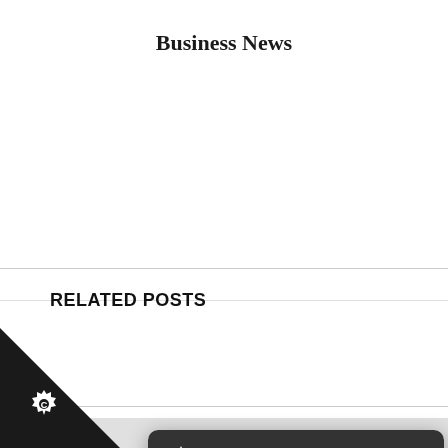Business News
RELATED POSTS
[Figure (screenshot): Cookie consent popup overlay with dark header bar containing a gear/cookie icon and close X button. Body text reads: 'We use cookies to give you the best online experience. Please let us know if you agree to all of these cookies.' A dark button labeled 'I'm fine with this'. Links: 'Information and Settings' and 'Cookie policy'. Bottom-left corner shows a dark triangle with a cookie/gear icon.]